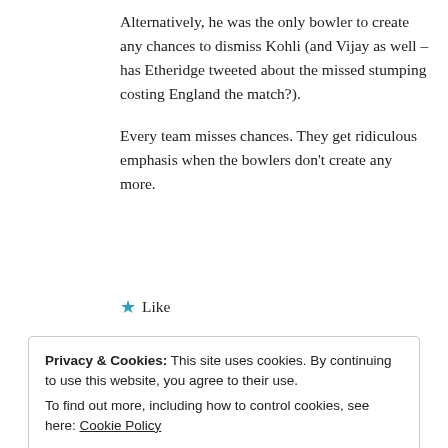Alternatively, he was the only bowler to create any chances to dismiss Kohli (and Vijay as well – has Etheridge tweeted about the missed stumping costing England the match?).
Every team misses chances. They get ridiculous emphasis when the bowlers don't create any more.
★ Like
Privacy & Cookies: This site uses cookies. By continuing to use this website, you agree to their use.
To find out more, including how to control cookies, see here: Cookie Policy
Close and accept